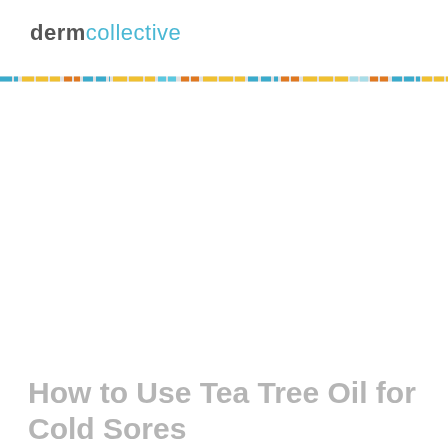dermcollective
How to Use Tea Tree Oil for Cold Sores